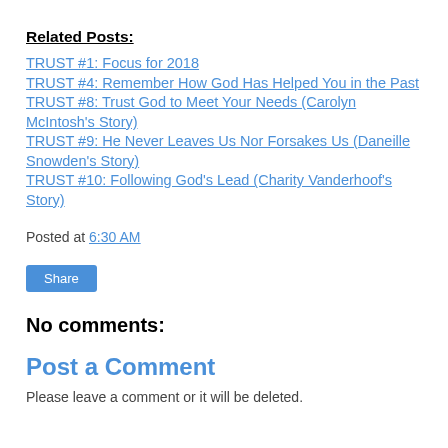Related Posts:
TRUST #1: Focus for 2018
TRUST #4: Remember How God Has Helped You in the Past
TRUST #8: Trust God to Meet Your Needs (Carolyn McIntosh's Story)
TRUST #9: He Never Leaves Us Nor Forsakes Us (Daneille Snowden's Story)
TRUST #10: Following God's Lead (Charity Vanderhoof's Story)
Posted at 6:30 AM
No comments:
Post a Comment
Please leave a comment or it will be deleted.